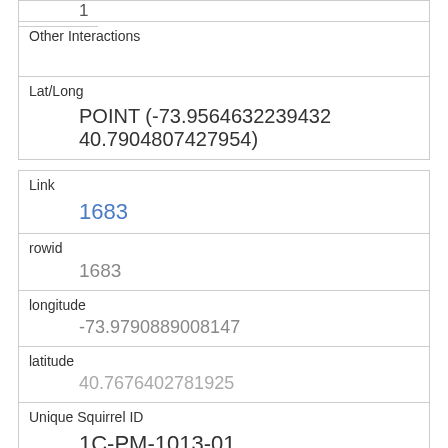| 1 |
| Other Interactions |  |
| Lat/Long | POINT (-73.9564632239432 40.7904807427954) |
| Link | 1683 |
| rowid | 1683 |
| longitude | -73.9790889008147 |
| latitude | 40.7676402781925 |
| Unique Squirrel ID | 1C-PM-1013-01 |
| Hectare | 01C |
| Shift | PM |